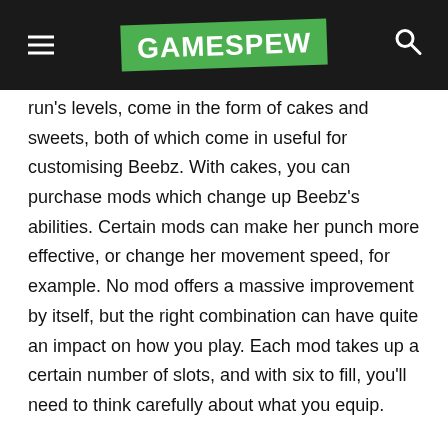GAMESPEW
run's levels, come in the form of cakes and sweets, both of which come in useful for customising Beebz. With cakes, you can purchase mods which change up Beebz's abilities. Certain mods can make her punch more effective, or change her movement speed, for example. No mod offers a massive improvement by itself, but the right combination can have quite an impact on how you play. Each mod takes up a certain number of slots, and with six to fill, you'll need to think carefully about what you equip.
Sweets, on the other hand, are used to purchase dyes which can be used to change up Beebz's hair and clothes. Her appearance doesn't have an impact on gameplay, but it's a nice touch to be able to